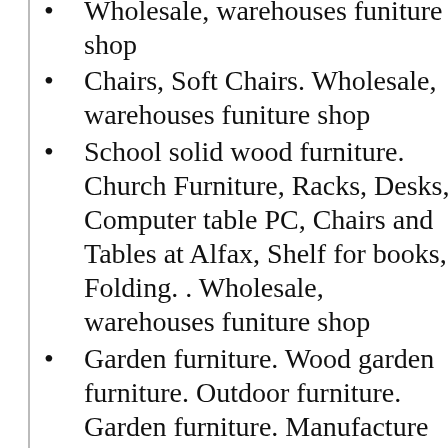Wholesale, warehouses funiture shop
Chairs, Soft Chairs. Wholesale, warehouses funiture shop
School solid wood furniture. Church Furniture, Racks, Desks, Computer table PC, Chairs and Tables at Alfax, Shelf for books, Folding. . Wholesale, warehouses funiture shop
Garden furniture. Wood garden furniture. Outdoor furniture. Garden furniture. Manufacture wood furniture. Wholesale, warehouses funiture shop